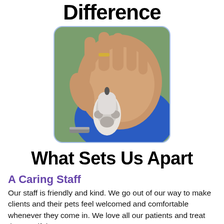Difference
[Figure (photo): A human hand palm-up with a dog paw resting in it, person wearing a ring, blue background visible]
What Sets Us Apart
A Caring Staff
Our staff is friendly and kind. We go out of our way to make clients and their pets feel welcomed and comfortable whenever they come in. We love all our patients and treat them as if they are our own.
Honesty